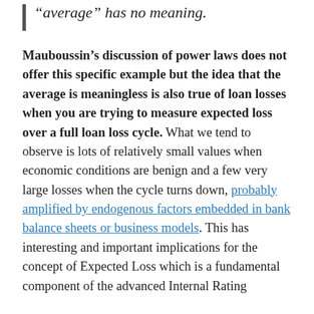“average” has no meaning.
Mauboussin’s discussion of power laws does not offer this specific example but the idea that the average is meaningless is also true of loan losses when you are trying to measure expected loss over a full loan loss cycle. What we tend to observe is lots of relatively small values when economic conditions are benign and a few very large losses when the cycle turns down, probably amplified by endogenous factors embedded in bank balance sheets or business models. This has interesting and important implications for the concept of Expected Loss which is a fundamental component of the advanced Internal Rating